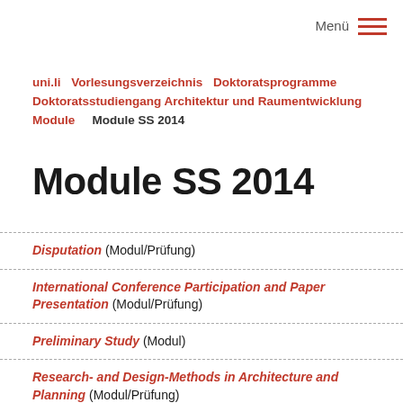Menü ☰
uni.li  Vorlesungsverzeichnis  Doktoratsprogramme  Doktoratsstudiengang Architektur und Raumentwicklung  Module  Module SS 2014
Module SS 2014
Disputation (Modul/Prüfung)
International Conference Participation and Paper Presentation (Modul/Prüfung)
Preliminary Study (Modul)
Research- and Design-Methods in Architecture and Planning (Modul/Prüfung)
Scientific Writing (Modul/Prüfung)